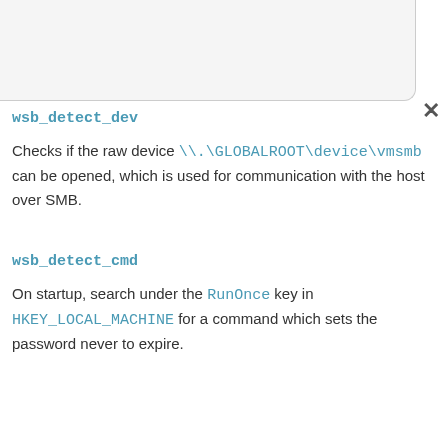wsb_detect_dev
Checks if the raw device \\.\GLOBALROOT\device\vmsmb can be opened, which is used for communication with the host over SMB.
wsb_detect_cmd
On startup, search under the RunOnce key in HKEY_LOCAL_MACHINE for a command which sets the password never to expire.